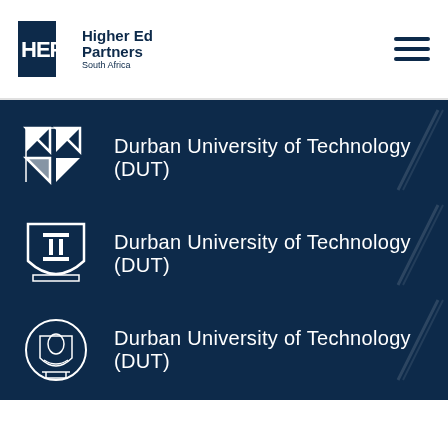[Figure (logo): Higher Ed Partners South Africa logo with HEP initials and tagline]
Durban University of Technology (DUT)
Durban University of Technology (DUT)
Durban University of Technology (DUT)